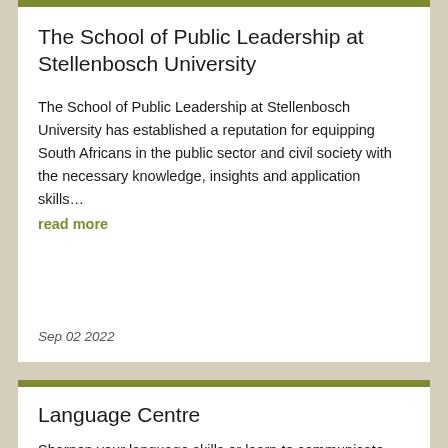The School of Public Leadership at Stellenbosch University
The School of Public Leadership at Stellenbosch University has established a reputation for equipping South Africans in the public sector and civil society with the necessary knowledge, insights and application skills…
read more
Sep 02 2022
Language Centre
Sharpen your language skills or learn to communicate